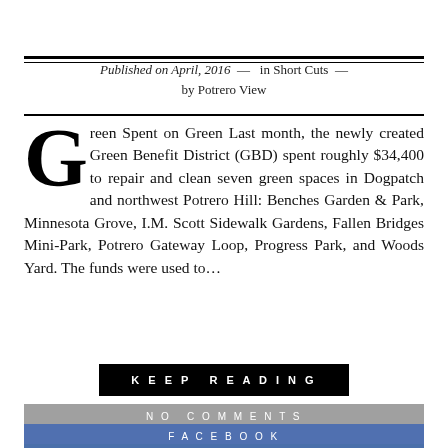Published on April, 2016 — in Short Cuts — by Potrero View
Green Spent on Green Last month, the newly created Green Benefit District (GBD) spent roughly $34,400 to repair and clean seven green spaces in Dogpatch and northwest Potrero Hill: Benches Garden & Park, Minnesota Grove, I.M. Scott Sidewalk Gardens, Fallen Bridges Mini-Park, Potrero Gateway Loop, Progress Park, and Woods Yard. The funds were used to...
KEEP READING
NO COMMENTS
FACEBOOK